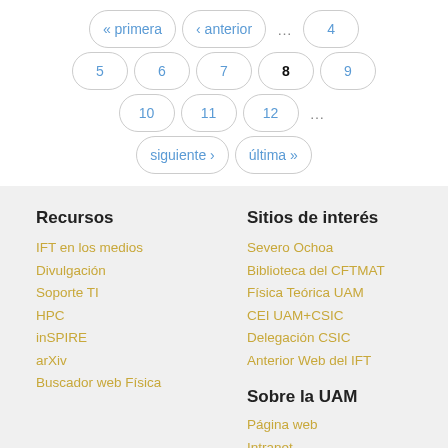« primera  ‹ anterior  ...  4  5  6  7  8  9  10  11  12  ...  siguiente ›  última »
Recursos
IFT en los medios
Divulgación
Soporte TI
HPC
inSPIRE
arXiv
Buscador web Física
Sitios de interés
Severo Ochoa
Biblioteca del CFTMAT
Física Teórica UAM
CEI UAM+CSIC
Delegación CSIC
Anterior Web del IFT
Sobre la UAM
Página web
Intranet